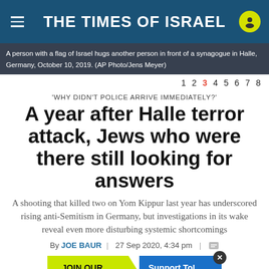THE TIMES OF ISRAEL
A person with a flag of Israel hugs another person in front of a synagogue in Halle, Germany, October 10, 2019. (AP Photo/Jens Meyer)
1 2 3 4 5 6 7 8
'WHY DIDN'T POLICE ARRIVE IMMEDIATELY?'
A year after Halle terror attack, Jews who were there still looking for answers
A shooting that killed two on Yom Kippur last year has underscored rising anti-Semitism in Germany, but investigations in its wake reveal even more disturbing systemic shortcomings
By JOE BAUR | 27 Sep 2020, 4:34 pm |
[Figure (infographic): Advertisement banner: 'JOIN OUR COMMUNITY' with arrow pointing to 'Support ToI and remove ads']